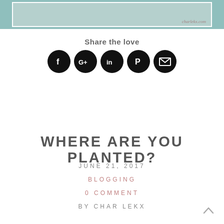[Figure (photo): Top portion of a decorative image with teal/mint background and a watermark text reading 'charlekx.com']
Share the love
[Figure (infographic): Row of five circular black social media icons: Facebook (f), Google+ (G+), LinkedIn (in), Pinterest (P), Email (envelope)]
WHERE ARE YOU PLANTED?
JUNE 21, 2017
BLOGGING
0 COMMENT
BY CHAR LEKX